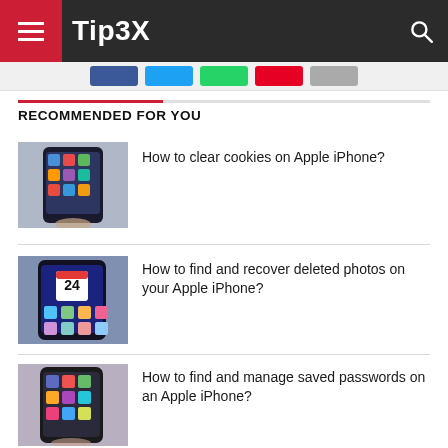Tip3X
RECOMMENDED FOR YOU
[Figure (photo): Hand holding an Apple iPhone showing home screen with apps]
How to clear cookies on Apple iPhone?
[Figure (photo): Apple iPhone home screen showing calendar app with date 24]
How to find and recover deleted photos on your Apple iPhone?
[Figure (photo): Hand holding Apple iPhone showing home screen with apps]
How to find and manage saved passwords on an Apple iPhone?